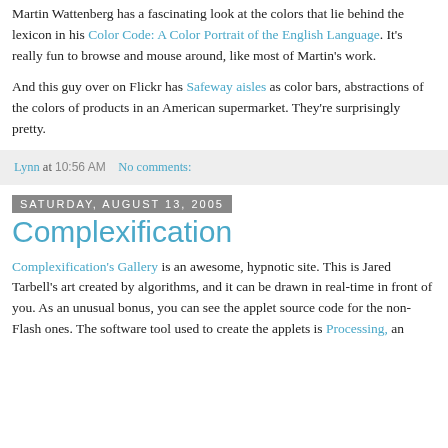Martin Wattenberg has a fascinating look at the colors that lie behind the lexicon in his Color Code: A Color Portrait of the English Language. It's really fun to browse and mouse around, like most of Martin's work.
And this guy over on Flickr has Safeway aisles as color bars, abstractions of the colors of products in an American supermarket. They're surprisingly pretty.
Lynn at 10:56 AM    No comments:
Saturday, August 13, 2005
Complexification
Complexification's Gallery is an awesome, hypnotic site. This is Jared Tarbell's art created by algorithms, and it can be drawn in real-time in front of you. As an unusual bonus, you can see the applet source code for the non-Flash ones. The software tool used to create the applets is Processing, an